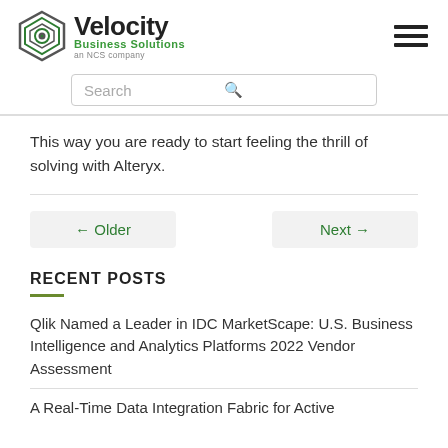[Figure (logo): Velocity Business Solutions logo with hexagonal eye icon and 'an NCS company' tagline]
Search
This way you are ready to start feeling the thrill of solving with Alteryx.
← Older
Next →
RECENT POSTS
Qlik Named a Leader in IDC MarketScape: U.S. Business Intelligence and Analytics Platforms 2022 Vendor Assessment
A Real-Time Data Integration Fabric for Active